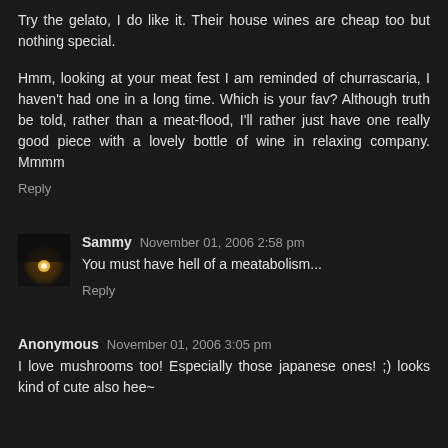Try the gelato, I do like it. Their house wines are cheap too but nothing special.
Hmm, looking at your meat fest I am reminded of churrascaria, I haven't had one in a long time. Which is your fav? Although truth be told, rather than a meat-flood, I'll rather just have one really good piece with a lovely bottle of wine in relaxing company. Mmmm
Reply
Sammy November 01, 2006 2:58 pm
You must have hell of a meatabolism...
Reply
Anonymous November 01, 2006 3:05 pm
I love mushrooms too! Especially those japanese ones! ;) looks kind of cute also hee~